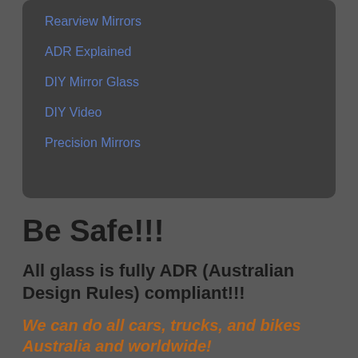Rearview Mirrors
ADR Explained
DIY Mirror Glass
DIY Video
Precision Mirrors
Be Safe!!!
All glass is fully ADR (Australian Design Rules) compliant!!!
We can do all cars, trucks, and bikes Australia and worldwide!